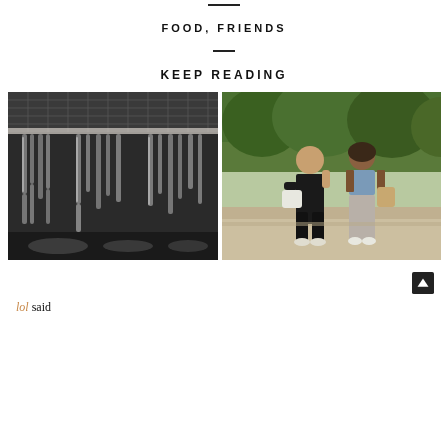FOOD, FRIENDS
KEEP READING
[Figure (photo): Close-up photo of hanging glass tubes in a dark interior installation, with overhead lattice ceiling and reflective surfaces]
[Figure (photo): Two women posing outdoors on a path, surrounded by green trees, one in dark outfit and one in denim jacket and gray skirt]
[Figure (other): Arrow up button (scroll to top)]
lol said